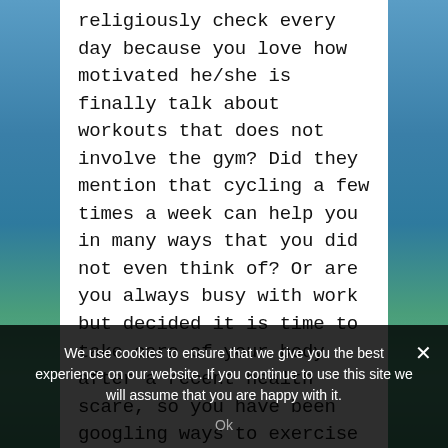religiously check every day because you love how motivated he/she is finally talk about workouts that does not involve the gym? Did they mention that cycling a few times a week can help you in many ways that you did not even think of? Or are you always busy with work but decided it is time to take care of your body after a recent health scare, so you have been googling ways to exercise without going to a gym? Whatever your reasons may be, you must consider incorporating cycling into
We use cookies to ensure that we give you the best experience on our website. If you continue to use this site we will assume that you are happy with it.